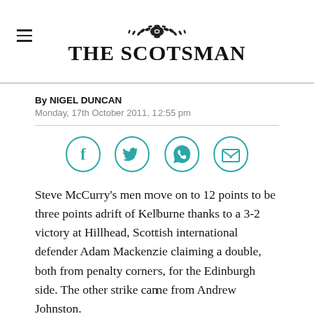THE SCOTSMAN
By NIGEL DUNCAN
Monday, 17th October 2011, 12:55 pm
[Figure (infographic): Four teal-outlined social sharing icons in circles: Facebook (f), Twitter (bird), WhatsApp (phone handset), Email (envelope)]
Steve McCurry's men move on to 12 points to be three points adrift of Kelburne thanks to a 3-2 victory at Hillhead, Scottish international defender Adam Mackenzie claiming a double, both from penalty corners, for the Edinburgh side. The other strike came from Andrew Johnston.
Grange, minus five starting players through